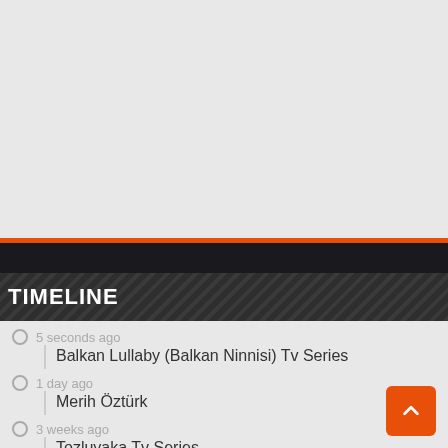TIMELINE
5 seconds ago
Balkan Lullaby (Balkan Ninnisi) Tv Series
1 day ago
Merih Öztürk
3 weeks ago
Tozluyaka Tv Series